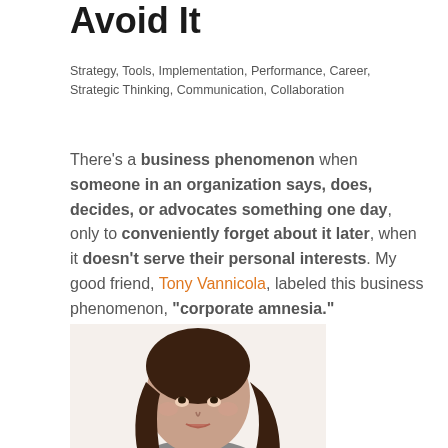Avoid It
Strategy, Tools, Implementation, Performance, Career, Strategic Thinking, Communication, Collaboration
There's a business phenomenon when someone in an organization says, does, decides, or advocates something one day, only to conveniently forget about it later, when it doesn't serve their personal interests. My good friend, Tony Vannicola, labeled this business phenomenon, "corporate amnesia."
[Figure (photo): Photo of a woman with dark hair looking upward, shown from shoulders up against a white/light background]